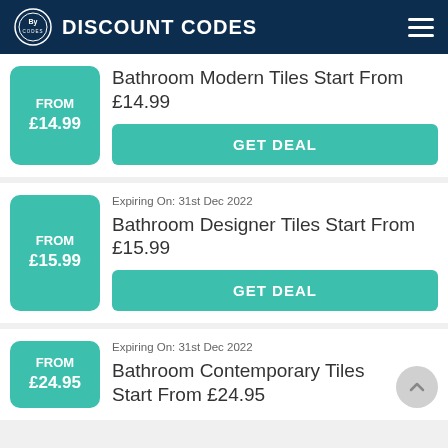DISCOUNT CODES
FROM £14.99
Bathroom Modern Tiles Start From £14.99
GET DEAL
Expiring On: 31st Dec 2022
FROM £15.99
Bathroom Designer Tiles Start From £15.99
GET DEAL
Expiring On: 31st Dec 2022
FROM £24.95
Bathroom Contemporary Tiles Start From £24.95